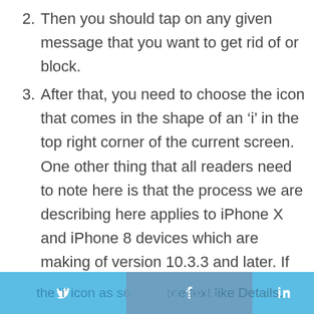2. Then you should tap on any given message that you want to get rid of or block.
3. After that, you need to choose the icon that comes in the shape of an 'i' in the top right corner of the current screen. One other thing that all readers need to note here is that the process we are describing here applies to iPhone X and iPhone 8 devices which are making of version 10.3.3 and later. If you happen to own an older iPhone device that is making use of a much older build then you might see the 'i' icon as some text like Details.
the 'i' icon as some text like Details.